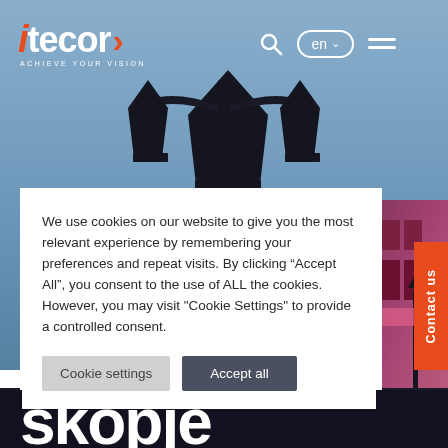[Figure (screenshot): Itecor website screenshot showing navigation bar with logo, search icon, language selector (en), hamburger menu, and a background photo of ornate street lamps against a blue sky.]
itecor ACHIEVE YOUR VISION
We use cookies on our website to give you the most relevant experience by remembering your preferences and repeat visits. By clicking “Accept All”, you consent to the use of ALL the cookies. However, you may visit "Cookie Settings" to provide a controlled consent.
Cookie settings   Accept all
Contact us
skopje